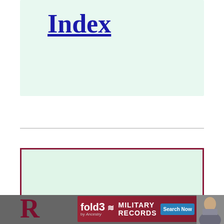Index
[Figure (other): Name display card with mint green background and dark red border showing 'Aimée Marguerite' in large bold serif font]
[Figure (other): Fold3 Military Records advertisement banner with red and dark background, Search Now button, and portrait photo]